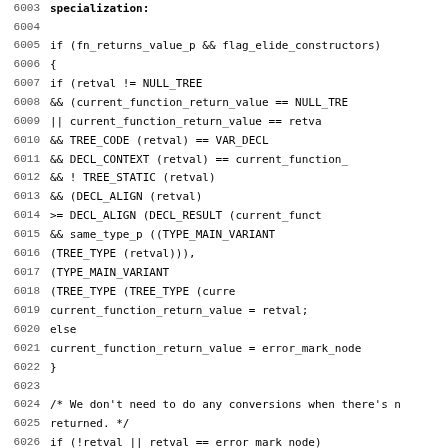[Figure (screenshot): Source code listing (C/C++) showing lines 6003-6035 of a function handling return value construction with NRVO/elide constructors logic.]